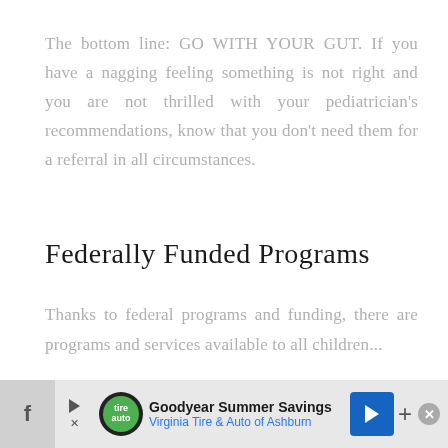The bottom line: GO WITH YOUR GUT. If you have a nagging feeling something is not right and you are not thrilled with your pediatrician's recommendations, know that you don't need them for a referral in all circumstances.
Federally Funded Programs
Thanks to federal programs and funding, there are programs and services available to all children...
[Figure (other): Advertisement banner: Goodyear Summer Savings — Virginia Tire & Auto of Ashburn, with social media icons and close button]